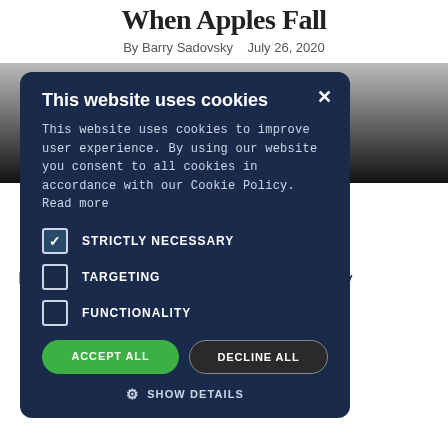When Apples Fall
By Barry Sadovsky   July 26, 2020
[Figure (photo): Dark photographic image behind cookie consent modal]
[Figure (screenshot): Cookie consent modal dialog with title 'This website uses cookies', body text, checkboxes for STRICTLY NECESSARY (checked), TARGETING (unchecked), FUNCTIONALITY (unchecked), ACCEPT ALL and DECLINE ALL buttons, and SHOW DETAILS link]
In the former case, equity markets are finally told more about Apple